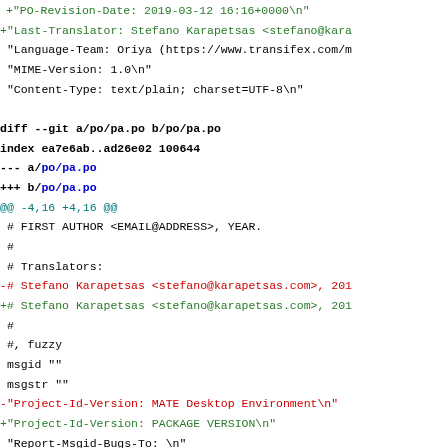Git diff output showing changes to po/pa.po and po/or.po translation files, including PO-Revision-Date, Last-Translator, Project-Id-Version, and related metadata fields.